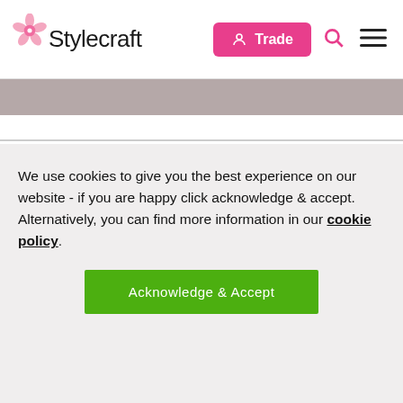[Figure (logo): Stylecraft logo with pink flower and text 'Stylecraft']
[Figure (screenshot): Navigation bar with pink 'Trade' button, search icon, and hamburger menu icon]
We use cookies to give you the best experience on our website - if you are happy click acknowledge & accept. Alternatively, you can find more information in our cookie policy.
Acknowledge & Accept